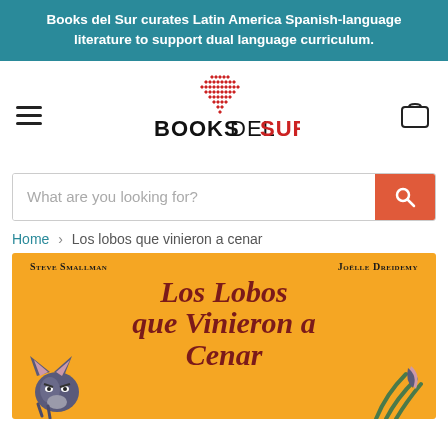Books del Sur curates Latin America Spanish-language literature to support dual language curriculum.
[Figure (logo): Books del Sur logo with red heart-shaped dots forming a cross/plus pattern above the text 'BOOKSDELSUR' in black and red]
What are you looking for?
Home > Los lobos que vinieron a cenar
[Figure (photo): Book cover of 'Los lobos que vinieron a cenar' by Steve Smallman and Joelle Dreidemy. Yellow/orange background with red serif title text and cartoon wolf illustrations at the bottom corners.]